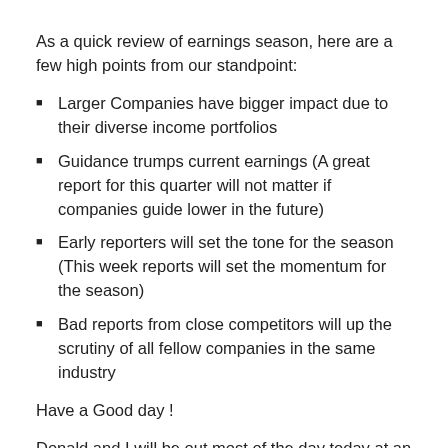As a quick review of earnings season, here are a few high points from our standpoint:
Larger Companies have bigger impact due to their diverse income portfolios
Guidance trumps current earnings (A great report for this quarter will not matter if companies guide lower in the future)
Early reporters will set the tone for the season (This week reports will set the momentum for the season)
Bad reports from close competitors will up the scrutiny of all fellow companies in the same industry
Have a Good day !
Donald and I will be out most of the day today at an industry event.